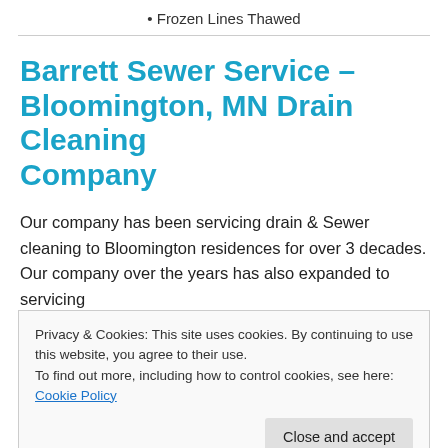• Frozen Lines Thawed
Barrett Sewer Service – Bloomington, MN Drain Cleaning Company
Our company has been servicing drain & Sewer cleaning to Bloomington residences for over 3 decades. Our company over the years has also expanded to servicing
Privacy & Cookies: This site uses cookies. By continuing to use this website, you agree to their use.
To find out more, including how to control cookies, see here: Cookie Policy
Close and accept